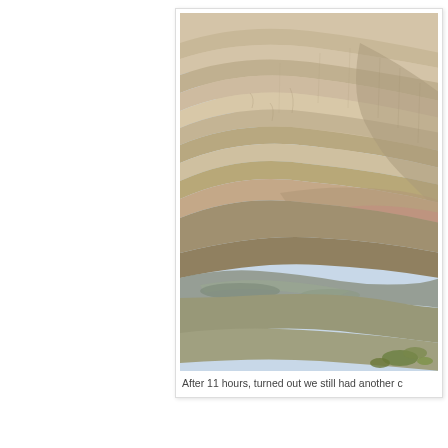[Figure (photo): An open-pit mine or canyon landscape showing layered sedimentary rock formations. The rock face is steeply curved and displays distinct horizontal strata in shades of tan, beige, and brown. At the bottom, muddy water pools are visible along with some sparse green vegetation. The sky is light blue and hazy at the top.]
After 11 hours, turned out we still had another c